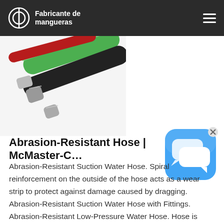Fabricante de mangueras
[Figure (photo): Photo of multiple industrial hoses with metal fittings, including green, black, and red hoses bundled together.]
[Figure (screenshot): Blue chat widget icon with speech bubble, with an X close button.]
Abrasion-Resistant Hose | McMaster-C…
Abrasion-Resistant Suction Water Hose. Spiral reinforcement on the outside of the hose acts as a wear strip to protect against damage caused by dragging. Abrasion-Resistant Suction Water Hose with Fittings. Abrasion-Resistant Low-Pressure Water Hose. Hose is SBR rubber, so it stands up to the wear and tear of daily use. Abrasion-Resistant Low-Pressure Water ...